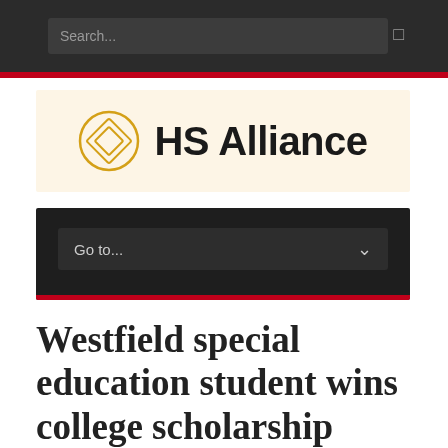Search...
[Figure (logo): HS Alliance logo with diamond/square concentric shape icon in gold/orange and bold text 'HS Alliance' on a light cream background]
Go to...
Westfield special education student wins college scholarship